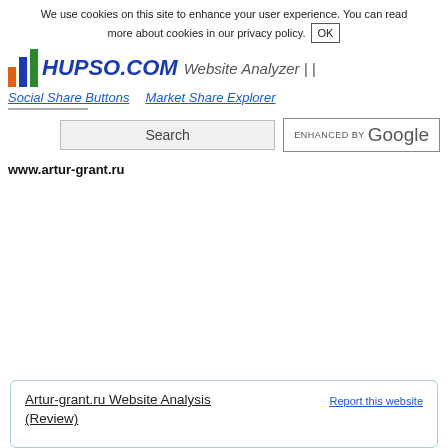We use cookies on this site to enhance your user experience. You can read more about cookies in our privacy policy. OK
[Figure (logo): HUPSO.COM logo with colored bar chart icon and text 'Website Analyzer | |']
Social Share Buttons   Market Share Explorer
Search  ENHANCED BY Google
www.artur-grant.ru
Artur-grant.ru Website Analysis (Review)   Report this website